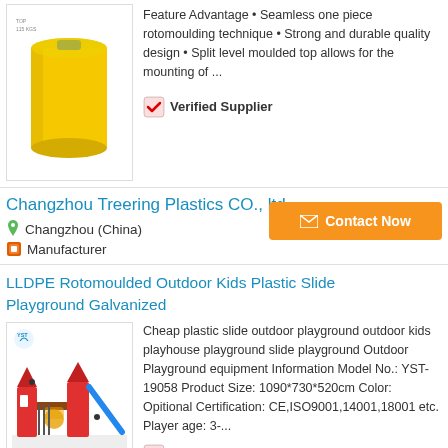[Figure (photo): Yellow plastic rotomoulded tank with logo in top left corner]
Feature Advantage • Seamless one piece rotomoulding technique • Strong and durable quality design • Split level moulded top allows for the mounting of ...
✓ Verified Supplier
Changzhou Treering Plastics CO., ltd
Changzhou (China)
Manufacturer
Contact Now
LLDPE Rotomoulded Outdoor Kids Plastic Slide Playground Galvanized
[Figure (photo): Colorful outdoor kids playground equipment with slides, towers, and climbing structures. YST brand logo visible in top left.]
Cheap plastic slide outdoor playground outdoor kids playhouse playground slide playground Outdoor Playground equipment Information Model No.: YST-19058 Product Size: 1090*730*520cm Color: Opitional Certification: CE,ISO9001,14001,18001 etc. Player age: 3-...
✓ Verified Supplier